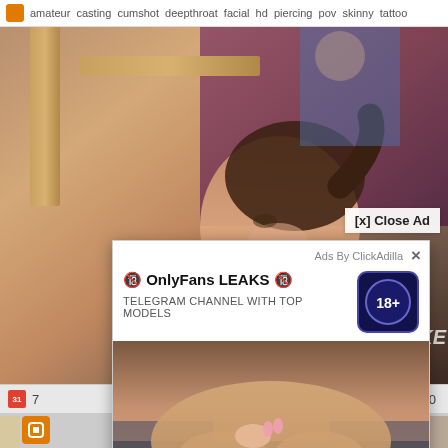amateur casting cumshot deepthroat facial hd piercing pov skinny tattoo
[Figure (photo): Screenshot of an adult video website showing a video thumbnail with a young woman, overlaid by an advertisement popup for OnlyFans LEAKS Telegram channel, and a close ad button]
[x] Close Ad
Ads By ClickAdilla ×
🔞 OnlyFans LEAKS 🔞
TELEGRAM CHANNEL WITH TOP MODELS
ccp
7
15:00